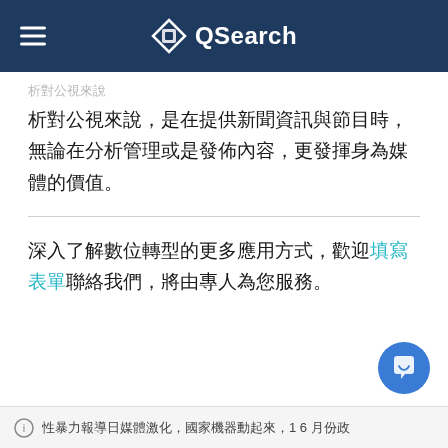QSearch
析對公視來說，是在提供新聞資訊與節目時，無論在分析管理或是發佈內容，更發揮身為媒體的價值。
深入了解數位轉型的更多應用方式，歡迎填寫表單聯絡我們，將由專人為您服務。
性暴力報導日媒體激化，國家機器動起來，1 6 月份政